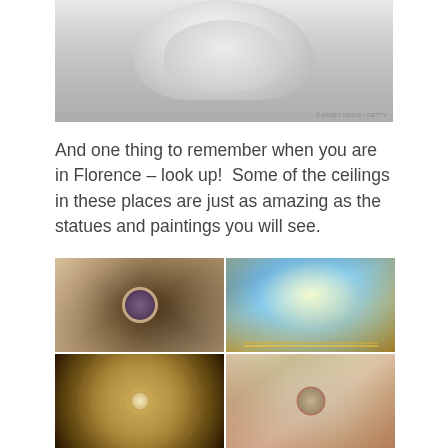[Figure (photo): Close-up photograph of a marble statue torso (likely Michelangelo's David) from below, showing the white marble chest and abdomen against a light background. A small watermark is visible in the bottom right corner.]
And one thing to remember when you are in Florence – look up!  Some of the ceilings in these places are just as amazing as the statues and paintings you will see.
[Figure (photo): A 2x2 grid of four photographs showing ornate ceiling frescoes and decorative ceilings in Florence. Top left: a perspective view looking up at an elaborately painted room ceiling with warm earth tones and a central oval medallion. Top right: a bright, colorful Baroque ceiling fresco with blue sky, gold decorations, and mythological figures. Bottom left: a view straight up into a domed ceiling with concentric decorative rings in gold and brown tones. Bottom right: a map-like or fresco ceiling with light colors, architectural details, and decorative figures in terracotta and cream tones.]